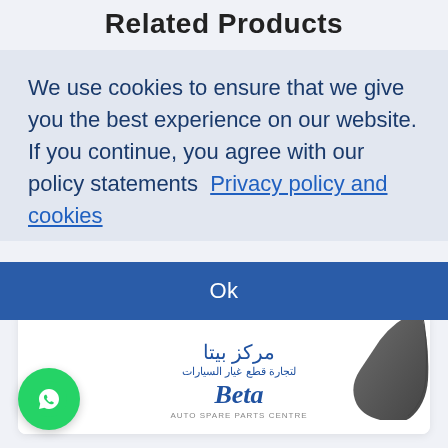Related Products
We use cookies to ensure that we give you the best experience on our website. If you continue, you agree with our policy statements  Privacy policy and cookies
Ok
[Figure (logo): Beta Auto Spare Parts Centre logo with Arabic text and stylized Beta script]
A4 FRONT FENDER
A4 (2008-2015)  $57